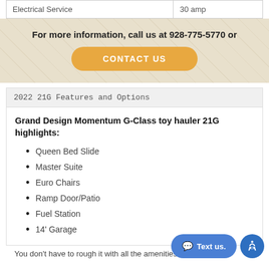| Electrical Service | 30 amp |
| --- | --- |
| Electrical Service | 30 amp |
For more information, call us at 928-775-5770 or
CONTACT US
2022 21G Features and Options
Grand Design Momentum G-Class toy hauler 21G highlights:
Queen Bed Slide
Master Suite
Euro Chairs
Ramp Door/Patio
Fuel Station
14' Garage
You don't have to rough it with all the amenities found in